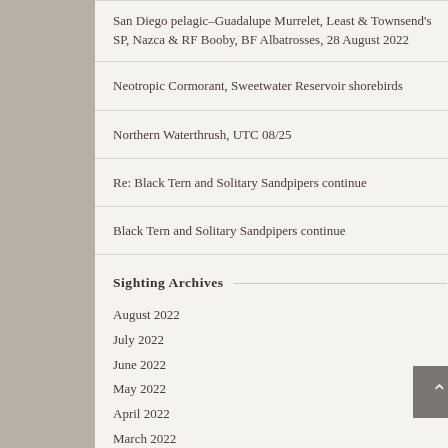San Diego pelagic–Guadalupe Murrelet, Least & Townsend's SP, Nazca & RF Booby, BF Albatrosses, 28 August 2022
Neotropic Cormorant, Sweetwater Reservoir shorebirds
Northern Waterthrush, UTC 08/25
Re: Black Tern and Solitary Sandpipers continue
Black Tern and Solitary Sandpipers continue
Sighting Archives
August 2022
July 2022
June 2022
May 2022
April 2022
March 2022